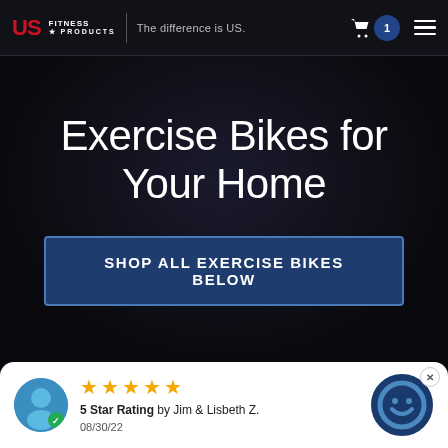US Fitness Products | The difference is US.
Exercise Bikes for Your Home
SHOP ALL EXERCISE BIKES BELOW
5 Star Rating by Jim & Lisbeth Z. 08/30/22